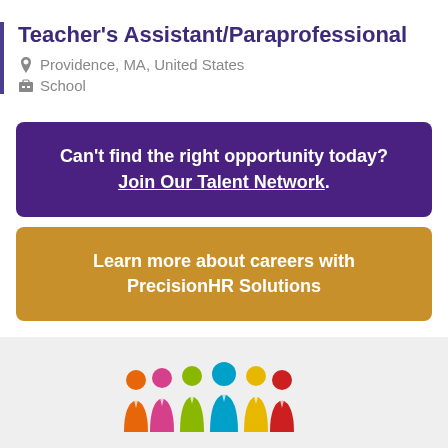Teacher's Assistant/Paraprofessional
Providence, MA, United States
School
Can't find the right opportunity today? Join Our Talent Network.
Learn more about careers with PrecisionHR Solutions
[Figure (logo): PrecisionHR Solutions logo with colorful human silhouettes in orange, pink, green, teal, yellow, and red above the text PrecisionHR]